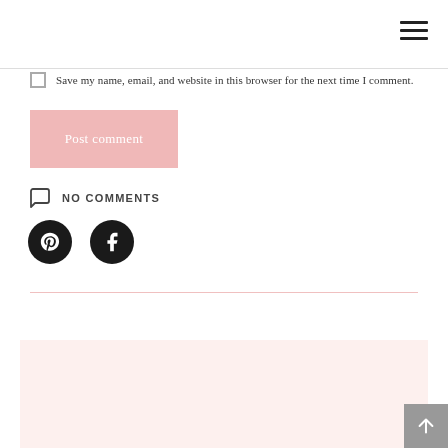Navigation hamburger menu
Save my name, email, and website in this browser for the next time I comment.
Post comment
NO COMMENTS
[Figure (illustration): Social share icons: Pinterest (P) and Facebook (f) as dark circular buttons]
[Figure (photo): Woman with dark hair photographed from shoulders up, on a light pink background card]